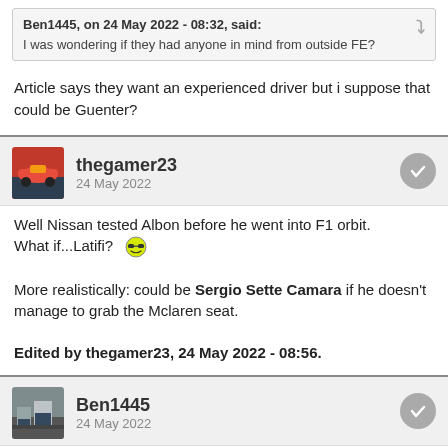Ben1445, on 24 May 2022 - 08:32, said:
I was wondering if they had anyone in mind from outside FE?
Article says they want an experienced driver but i suppose that could be Guenter?
thegamer23 — 24 May 2022
Well Nissan tested Albon before he went into F1 orbit. What if...Latifi? 😎
More realistically: could be Sergio Sette Camara if he doesn't manage to grab the Mclaren seat.
Edited by thegamer23, 24 May 2022 - 08:56.
Ben1445 — 24 May 2022
RSRally, on 24 May 2022 - 08:46, said: